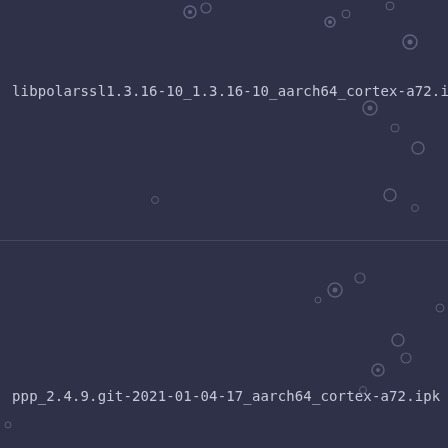libpolarssl1.3.16-10_1.3.16-10_aarch64_cortex-a72.ipk
ppp_2.4.9.git-2021-01-04-17_aarch64_cortex-a72.ipk
badvpn_1.999.130-1_aarch64_cortex-a72.ipk